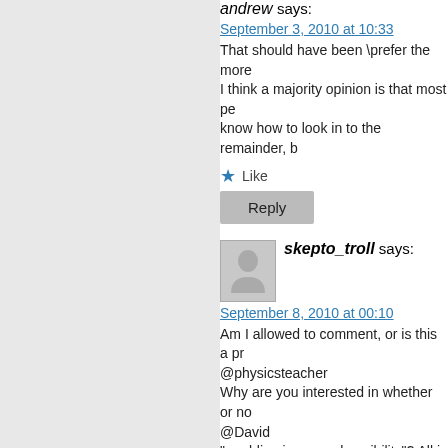andrew says:
September 3, 2010 at 10:33
That should have been \prefer the more I think a majority opinion is that most pe know how to look in to the remainder, b
Like
Reply
skepto_troll says:
September 8, 2010 at 00:10
Am I allowed to comment, or is this a pr @physicsteacher Why are you interested in whether or no @David "rambling incomprehensibility"? All in the I couldn't speak for 'most alt-med peopl but two other Skep sites had severe se application out, before I found welcome I get the strong impression that 'most al ps-skeptic crowd, often in capital letters they get pretty fed up with it. @andrew: Is that a compliment? Thank @Dude: I have great distaste for censo the anti-alt-med crowd. I see that the RLHH is about to change new stationery & another round of vitiati factions.